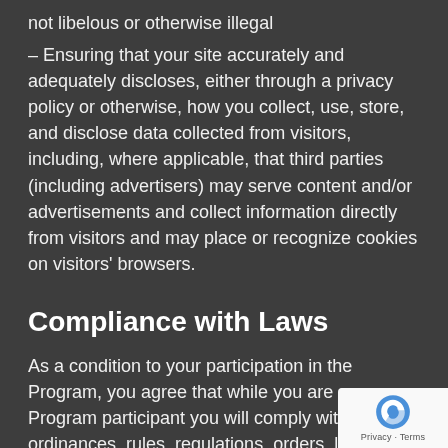not libelous or otherwise illegal
– Ensuring that your site accurately and adequately discloses, either through a privacy policy or otherwise, how you collect, use, store, and disclose data collected from visitors, including, where applicable, that third parties (including advertisers) may serve content and/or advertisements and collect information directly from visitors and may place or recognize cookies on visitors' browsers.
Compliance with Laws
As a condition to your participation in the Program, you agree that while you are a Program participant you will comply with all laws, ordinances, rules, regulations, orders, licenses, permits, judgments, decisions or ou...